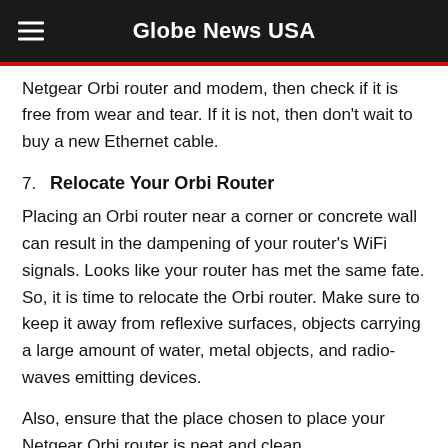Globe News USA
Netgear Orbi router and modem, then check if it is free from wear and tear. If it is not, then don't wait to buy a new Ethernet cable.
7. Relocate Your Orbi Router
Placing an Orbi router near a corner or concrete wall can result in the dampening of your router's WiFi signals. Looks like your router has met the same fate. So, it is time to relocate the Orbi router. Make sure to keep it away from reflexive surfaces, objects carrying a large amount of water, metal objects, and radio-waves emitting devices.
Also, ensure that the place chosen to place your Netgear Orbi router is neat and clean.